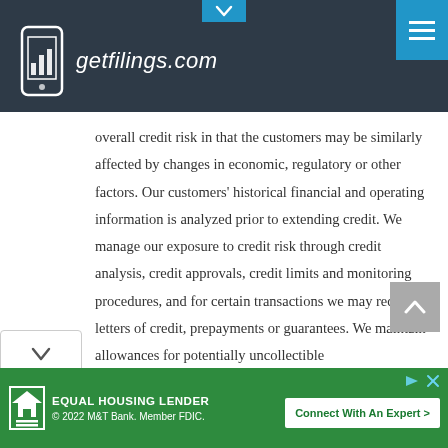getfilings.com
overall credit risk in that the customers may be similarly affected by changes in economic, regulatory or other factors. Our customers' historical financial and operating information is analyzed prior to extending credit. We manage our exposure to credit risk through credit analysis, credit approvals, credit limits and monitoring procedures, and for certain transactions we may request letters of credit, prepayments or guarantees. We maintain allowances for potentially uncollectible
[Figure (screenshot): Equal Housing Lender advertisement banner: green background with Equal Housing Lender logo, copyright 2022 M&T Bank Member FDIC, and Connect With An Expert button]